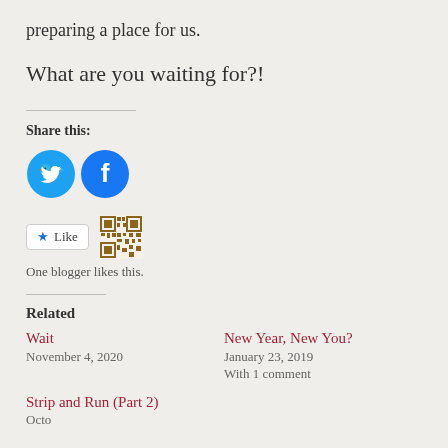preparing a place for us.
What are you waiting for?!
Share this:
[Figure (illustration): Twitter and Facebook social share icons (circular blue buttons with bird and f logos)]
[Figure (illustration): Like button with star icon and a QR code image next to it]
One blogger likes this.
Related
Wait
November 4, 2020
New Year, New You?
January 23, 2019
With 1 comment
Strip and Run (Part 2)